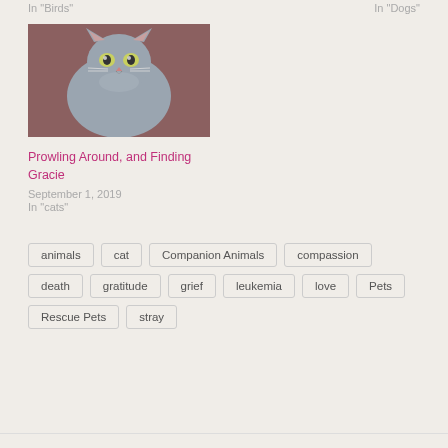In "Birds"
In "Dogs"
[Figure (photo): A gray kitten looking at camera against a dark red background]
Prowling Around, and Finding Gracie
September 1, 2019
In "cats"
animals
cat
Companion Animals
compassion
death
gratitude
grief
leukemia
love
Pets
Rescue Pets
stray